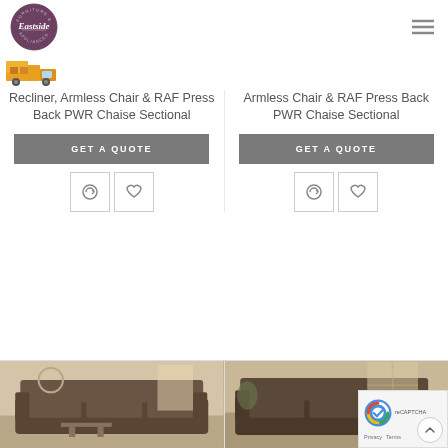[Figure (logo): Eastside Furniture & Appliances circular logo in purple/mauve]
[Figure (illustration): Hamburger menu icon (three horizontal lines)]
[Figure (illustration): Delivery truck icon]
Recliner, Armless Chair & RAF Press Back PWR Chaise Sectional
GET A QUOTE
Armless Chair & RAF Press Back PWR Chaise Sectional
GET A QUOTE
[Figure (photo): Photo of a dark leather sofa/sectional in a living room setting (left)]
[Figure (photo): Photo of a dark leather sofa/sectional in a living room setting (right)]